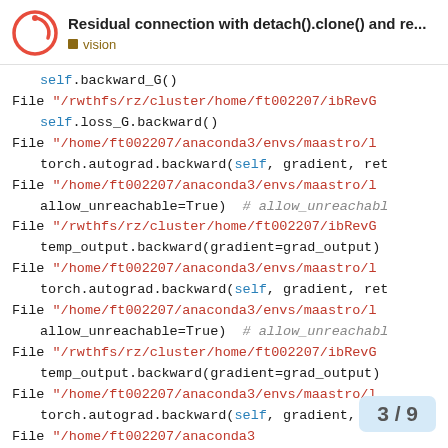Residual connection with detach().clone() and re... vision
self.backward_G()
File "/rwthfs/rz/cluster/home/ft002207/ibRevG
    self.loss_G.backward()
File "/home/ft002207/anaconda3/envs/maastro/l
    torch.autograd.backward(self, gradient, ret
File "/home/ft002207/anaconda3/envs/maastro/l
    allow_unreachable=True)  # allow_unreachabl
File "/rwthfs/rz/cluster/home/ft002207/ibRevG
    temp_output.backward(gradient=grad_output)
File "/home/ft002207/anaconda3/envs/maastro/l
    torch.autograd.backward(self, gradient, ret
File "/home/ft002207/anaconda3/envs/maastro/l
    allow_unreachable=True)  # allow_unreachabl
File "/rwthfs/rz/cluster/home/ft002207/ibRevG
    temp_output.backward(gradient=grad_output)
File "/home/ft002207/anaconda3/envs/maastro/l
    torch.autograd.backward(self, gradient, ret
File "/home/ft002207/anaconda3
    allow_unreachable=True)  #
3 / 9